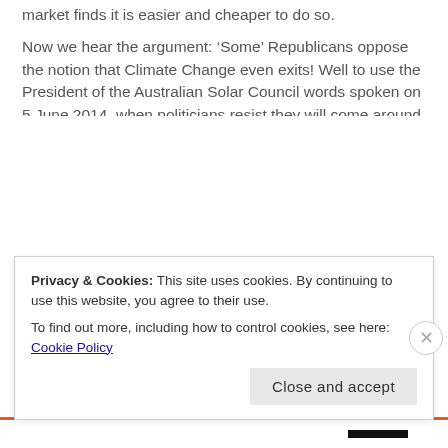market finds it is easier and cheaper to do so.
Now we hear the argument: ‘Some’ Republicans oppose the notion that Climate Change even exits! Well to use the President of the Australian Solar Council words spoken on 5 June 2014, when politicians resist they will come around to change their thinking easy enough. You could interpret that as – I oppose to recognise because change present problems that require actions. You could also say in ‘yes minister’ style: One will be courageous when it becomes unavoidable. You could say if you reduce the risk, and it is to reduce the likely hood of a voter backlash it is a good thing.
Privacy & Cookies: This site uses cookies. By continuing to use this website, you agree to their use.
To find out more, including how to control cookies, see here: Cookie Policy